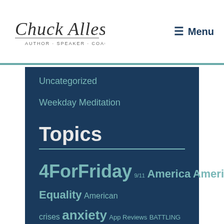Chuck Alles — Menu
Uncategorized
Weekday Meditation
Topics
4ForFriday 9/11 America America. Equality American crises anxiety App Reviews BATTLING COVID-19 Better Together Book Reviews border Busy calendar Christmas ChuckAllen church Civility CORONAVIRUS counter Covid-19 Currency Economy education